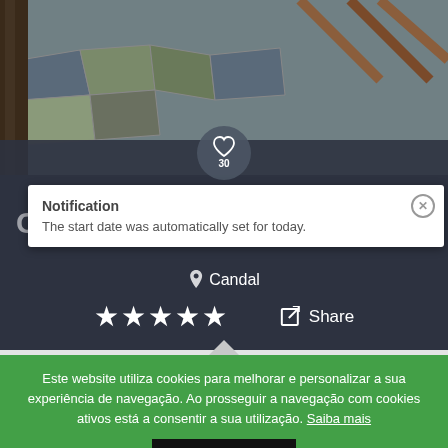[Figure (photo): Outdoor stone patio/terrace with wooden furniture and trees, top portion of a property listing page]
30
Notification
The start date was automatically set for today.
Casa das Bugalhas
Candal
★★★★★
Share
Whole House
6 guests
Este website utiliza cookies para melhorar e personalizar a sua experiência de navegação. Ao prosseguir a navegação com cookies ativos está a consentir a sua utilização. Saiba mais
OK